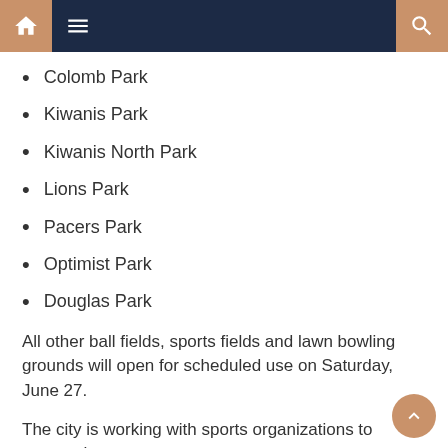Navigation bar with home, menu, and search icons
Colomb Park
Kiwanis Park
Kiwanis North Park
Lions Park
Pacers Park
Optimist Park
Douglas Park
All other ball fields, sports fields and lawn bowling grounds will open for scheduled use on Saturday, June 27.
The city is working with sports organizations to ensure that